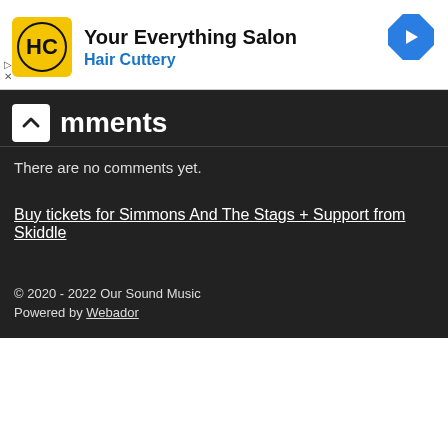[Figure (logo): Hair Cuttery advertisement banner with yellow HC logo, 'Your Everything Salon' heading, 'Hair Cuttery' subtext in blue, navigation arrow icon, and ad controls]
Comments
There are no comments yet.
Buy tickets for Simmons And The Stags + Support from Skiddle
© 2020 - 2022 Our Sound Music
Powered by Webador